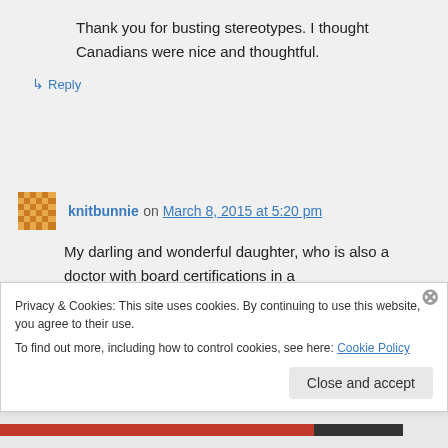Thank you for busting stereotypes. I thought Canadians were nice and thoughtful.
↳ Reply
knitbunnie on March 8, 2015 at 5:20 pm
My darling and wonderful daughter, who is also a doctor with board certifications in a
Privacy & Cookies: This site uses cookies. By continuing to use this website, you agree to their use. To find out more, including how to control cookies, see here: Cookie Policy
Close and accept